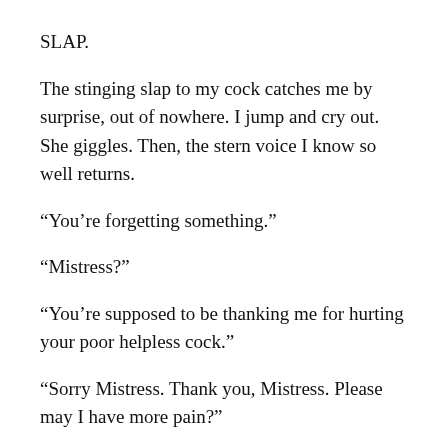SLAP.
The stinging slap to my cock catches me by surprise, out of nowhere. I jump and cry out. She giggles. Then, the stern voice I know so well returns.
“You’re forgetting something.”
“Mistress?”
“You’re supposed to be thanking me for hurting your poor helpless cock.”
“Sorry Mistress. Thank you, Mistress. Please may I have more pain?”
“Good boy.” I am treated to perhaps five seconds of her gorgeous hand running up and down my shaft in just